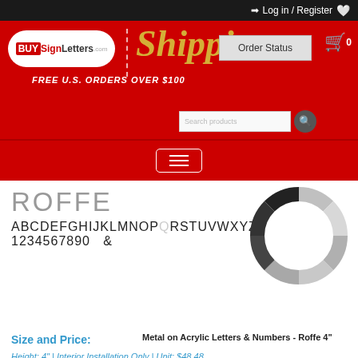Log in / Register
[Figure (logo): BUYSignLetters.com logo on white oval, on red background with 'Shipping' script text in gold and 'FREE SHIPPING ALL U.S. ORDERS OVER $100' text. Order Status box and shopping cart with 0 items visible.]
[Figure (screenshot): Navigation hamburger menu button (three horizontal bars) on red background, plus search input box with magnifying glass icon]
[Figure (illustration): ROFFE font display showing: large gray 'ROFFE' text, alphabet 'ABCDEFGHIJKLMNOPQRSTUVWXYZ', and numerals '1234567890 &'. Alongside a loading spinner graphic (partial ring in gray and black).]
Size and Price:
Metal on Acrylic Letters & Numbers - Roffe 4"
Height: 4" | Interior Installation Only | Unit: $48.48